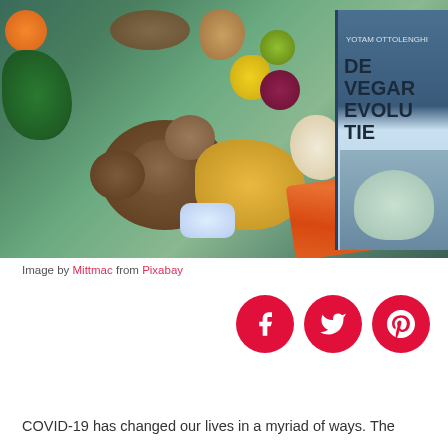[Figure (photo): Overhead photo of assorted vegetables and foods on a teal/blue surface: orange, parsley, mushrooms, butternut squash, carrots, garlic, tomato, beet, lime, yellow pepper, walnuts, cream cheese container, and a cookbook titled 'DE VEGAREVOLUTIE']
Image by Mittmac from Pixabay
[Figure (infographic): Three red circular social media share buttons: Facebook (f), Twitter (bird), Pinterest (P)]
COVID-19 has changed our lives in a myriad of ways. The